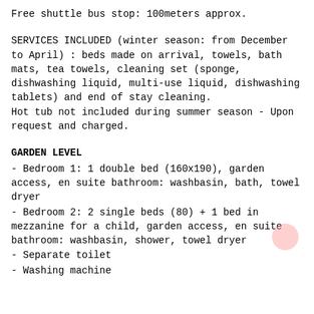Free shuttle bus stop: 100meters approx.
SERVICES INCLUDED (winter season: from December to April) : beds made on arrival, towels, bath mats, tea towels, cleaning set (sponge, dishwashing liquid, multi-use liquid, dishwashing tablets) and end of stay cleaning.
Hot tub not included during summer season - Upon request and charged.
GARDEN LEVEL
- Bedroom 1: 1 double bed (160x190), garden access, en suite bathroom: washbasin, bath, towel dryer
- Bedroom 2: 2 single beds (80) + 1 bed in mezzanine for a child, garden access, en suite bathroom: washbasin, shower, towel dryer
- Separate toilet
- Washing machine